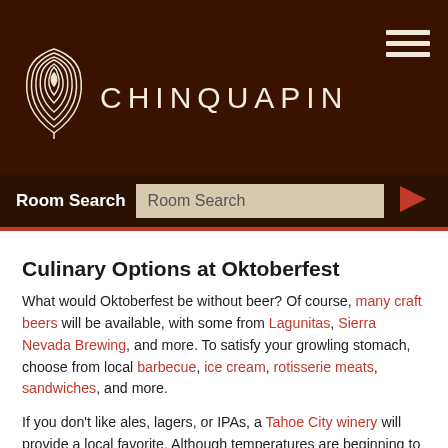CHINQUAPIN
Room Search
Culinary Options at Oktoberfest
What would Oktoberfest be without beer? Of course, many craft beers will be available, with some from Lagunitas, Sierra Nevada Brewing, and more. To satisfy your growling stomach, choose from local barbecue, ice cream, rotisserie meats, sandwiches, and more.
If you don't like ales, lagers, or IPAs, a Tahoe City winery will provide a local favorite. Although temperatures are beginning to drop for fall, Oktoberfest beer (or wine) will warm you up.
Activities at the Oktoberfest on Lake Tahoe